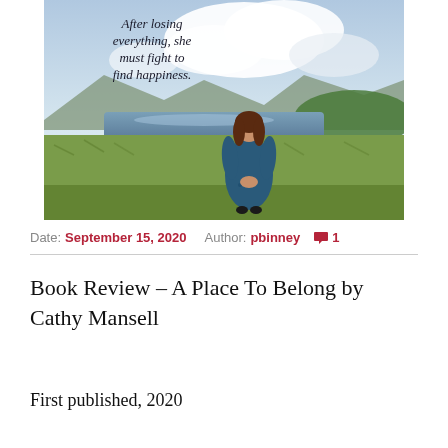[Figure (photo): Book cover for 'A Place To Belong' by Cathy Mansell. A woman in a blue floral dress stands with her back to the viewer, looking over a lush Irish countryside landscape with a lake, mountains, and dramatic sky. Text on the cover reads: 'After losing everything, she must fight to find happiness.']
Date: September 15, 2020   Author: pbinney   💬 1
Book Review – A Place To Belong by Cathy Mansell
First published, 2020